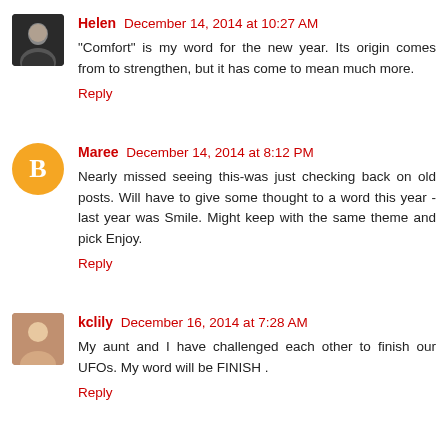Helen  December 14, 2014 at 10:27 AM
"Comfort" is my word for the new year. Its origin comes from to strengthen, but it has come to mean much more.
Reply
Maree  December 14, 2014 at 8:12 PM
Nearly missed seeing this-was just checking back on old posts. Will have to give some thought to a word this year - last year was Smile. Might keep with the same theme and pick Enjoy.
Reply
kclily  December 16, 2014 at 7:28 AM
My aunt and I have challenged each other to finish our UFOs. My word will be FINISH .
Reply